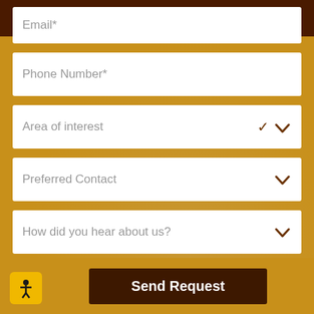(703) 854-9531
Email*
Phone Number*
Area of interest
Preferred Contact
How did you hear about us?
How can we help?
Send Request